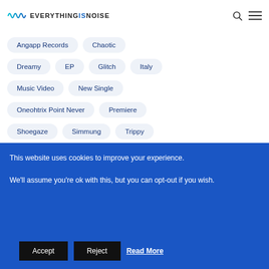EVERYTHING IS NOISE
Angapp Records
Chaotic
Dreamy
EP
Glitch
Italy
Music Video
New Single
Oneohtrix Point Never
Premiere
Shoegaze
Simmung
Trippy
Violent Scenes
Zebra
Zebra OPN
This website uses cookies to improve your experience. We'll assume you're ok with this, but you can opt-out if you wish. Accept Reject Read More